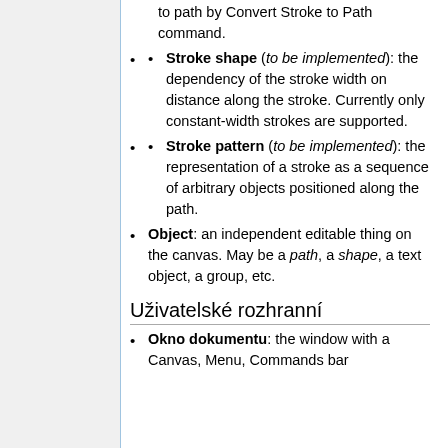to path by Convert Stroke to Path command.
Stroke shape (to be implemented): the dependency of the stroke width on distance along the stroke. Currently only constant-width strokes are supported.
Stroke pattern (to be implemented): the representation of a stroke as a sequence of arbitrary objects positioned along the path.
Object: an independent editable thing on the canvas. May be a path, a shape, a text object, a group, etc.
Uživatelské rozhranní
Okno dokumentu: the window with a Canvas, Menu, Commands bar...